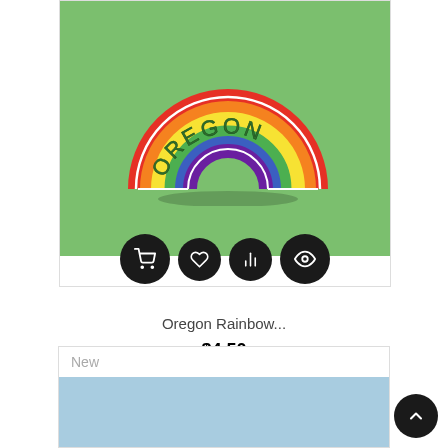[Figure (photo): Oregon Rainbow pin/sticker product image on green background with action buttons (cart, wishlist, compare, view)]
Oregon Rainbow...
$4.50
New